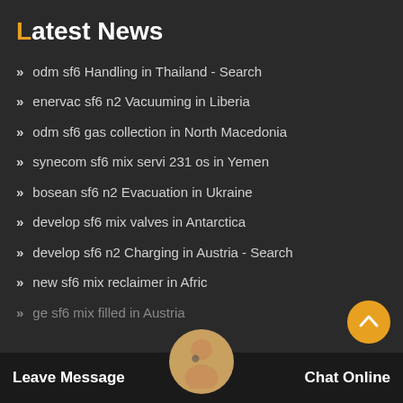Latest News
odm sf6 Handling in Thailand - Search
enervac sf6 n2 Vacuuming in Liberia
odm sf6 gas collection in North Macedonia
synecom sf6 mix servi 231 os in Yemen
bosean sf6 n2 Evacuation in Ukraine
develop sf6 mix valves in Antarctica
develop sf6 n2 Charging in Austria - Search
new sf6 mix reclaimer in Africa
ge sf6 mix filled in Austria
Leave Message
Chat Online